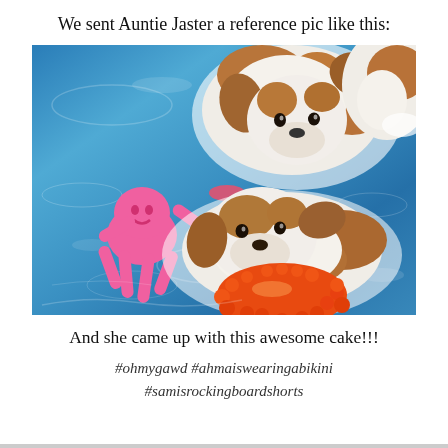We sent Auntie Jaster a reference pic like this:
[Figure (photo): Two Jack Russell terrier dogs swimming in a blue pool. One dog in the upper left holds a pink rubber doll toy (octopus-like figure) in its mouth. The second dog in the lower center holds an orange spiky rubber ball toy. The water is bright blue with white foam/splashes around the dogs.]
And she came up with this awesome cake!!!
#ohmygawd #ahmaiswearingabikini #samisrockingboardshorts